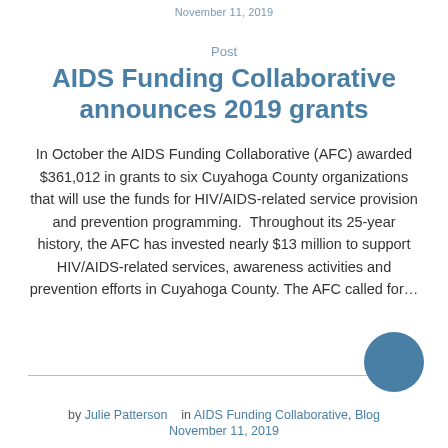November 11, 2019
Post
AIDS Funding Collaborative announces 2019 grants
In October the AIDS Funding Collaborative (AFC) awarded $361,012 in grants to six Cuyahoga County organizations that will use the funds for HIV/AIDS-related service provision and prevention programming.  Throughout its 25-year history, the AFC has invested nearly $13 million to support HIV/AIDS-related services, awareness activities and prevention efforts in Cuyahoga County. The AFC called for…
by Julie Patterson   in AIDS Funding Collaborative, Blog
November 11, 2019